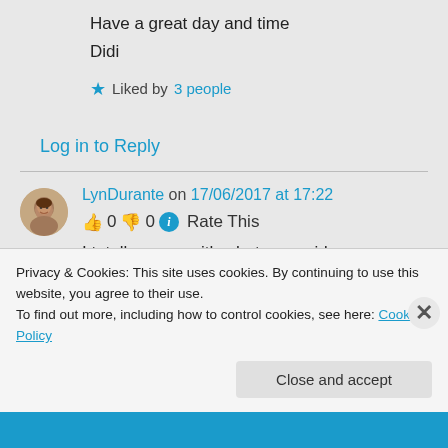Have a great day and time
Didi
★ Liked by 3 people
Log in to Reply
LynDurante on 17/06/2017 at 17:22
👍 0 👎 0 ℹ Rate This
I totally agree with what you said
Privacy & Cookies: This site uses cookies. By continuing to use this website, you agree to their use.
To find out more, including how to control cookies, see here: Cookie Policy
Close and accept